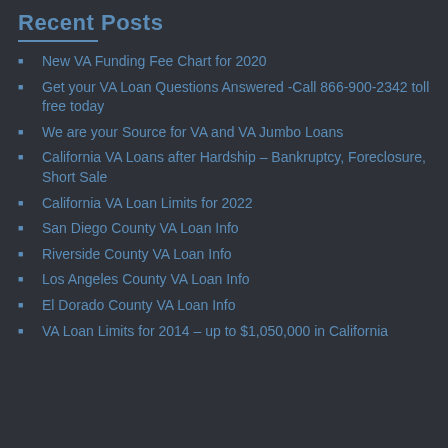Recent Posts
New VA Funding Fee Chart for 2020
Get your VA Loan Questions Answered -Call 866-900-2342 toll free today
We are your Source for VA and VA Jumbo Loans
California VA Loans after Hardship – Bankruptcy, Foreclosure, Short Sale
California VA Loan Limits for 2022
San Diego County VA Loan Info
Riverside County VA Loan Info
Los Angeles County VA Loan Info
El Dorado County VA Loan Info
VA Loan Limits for 2014 – up to $1,050,000 in California